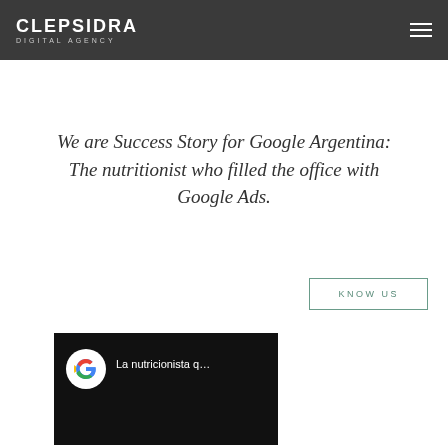CLEPSIDRA DIGITAL AGENCY
We are Success Story for Google Argentina: The nutritionist who filled the office with Google Ads.
KNOW US
[Figure (screenshot): Video thumbnail showing Google logo icon and text 'La nutricionista q...' on a dark/black background]